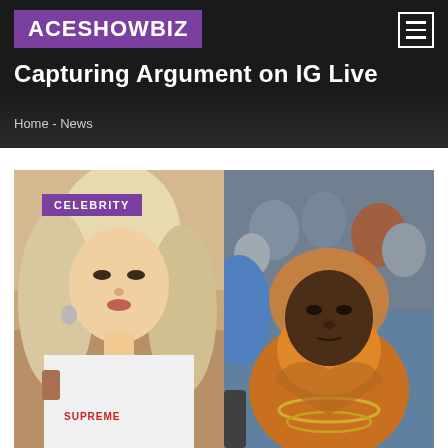ACESHOWBIZ
Capturing Argument on IG Live
Home - News
[Figure (photo): Split photo showing a woman with blonde/light hair, wearing a white Supreme shirt and silver chain necklaces on the left, and a man wearing an orange hoodie and gold chain at what appears to be a sporting event on the right. A purple 'CELEBRITY' badge overlays the top-left of the image.]